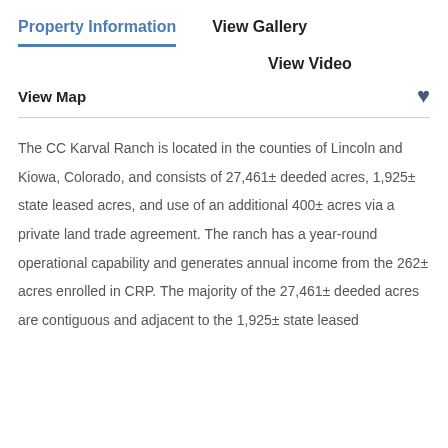Property Information
View Gallery
View Video
View Map
The CC Karval Ranch is located in the counties of Lincoln and Kiowa, Colorado, and consists of 27,461± deeded acres, 1,925± state leased acres, and use of an additional 400± acres via a private land trade agreement. The ranch has a year-round operational capability and generates annual income from the 262± acres enrolled in CRP. The majority of the 27,461± deeded acres are contiguous and adjacent to the 1,925± state leased